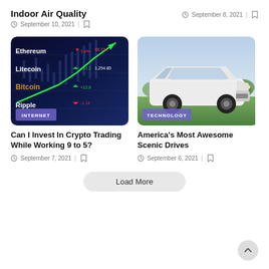Indoor Air Quality
September 10, 2021
September 8, 2021
[Figure (photo): Cryptocurrency trading screen showing Ethereum, Litecoin, Bitcoin, Ripple with green upward arrow trend line. Badge: INTERNET]
[Figure (photo): White sports car (Subaru BRZ) parked on grass with sky background. Badge: TECHNOLOGY]
Can I Invest In Crypto Trading While Working 9 to 5?
September 7, 2021
America’s Most Awesome Scenic Drives
September 6, 2021
Load More